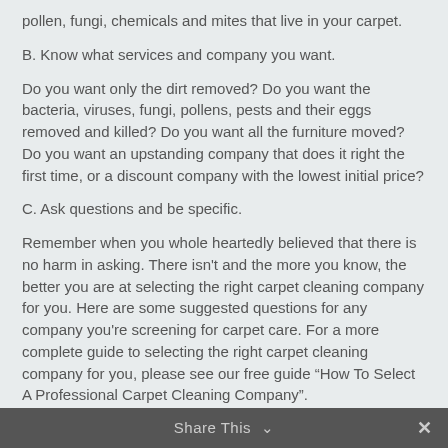pollen, fungi, chemicals and mites that live in your carpet.
B. Know what services and company you want.
Do you want only the dirt removed? Do you want the bacteria, viruses, fungi, pollens, pests and their eggs removed and killed? Do you want all the furniture moved? Do you want an upstanding company that does it right the first time, or a discount company with the lowest initial price?
C. Ask questions and be specific.
Remember when you whole heartedly believed that there is no harm in asking. There isn't and the more you know, the better you are at selecting the right carpet cleaning company for you. Here are some suggested questions for any company you're screening for carpet care. For a more complete guide to selecting the right carpet cleaning company for you, please see our free guide “How To Select A Professional Carpet Cleaning Company”.
1. What method of carpet cleaning do you recommend
Share This